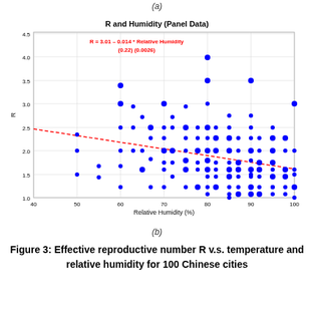[Figure (continuous-plot): Scatter plot of R and Humidity (Panel Data). X-axis: Relative Humidity (%), range 40-100. Y-axis: R, range 1.0-4.5. Blue dots scattered with a red dashed trend line decreasing from upper-left to lower-right. Regression equation: R = 3.01 - 0.014 * Relative Humidity, standard errors (0.22) and (0.0026).]
(a)
(b)
Figure 3: Effective reproductive number R v.s. temperature and relative humidity for 100 Chinese cities